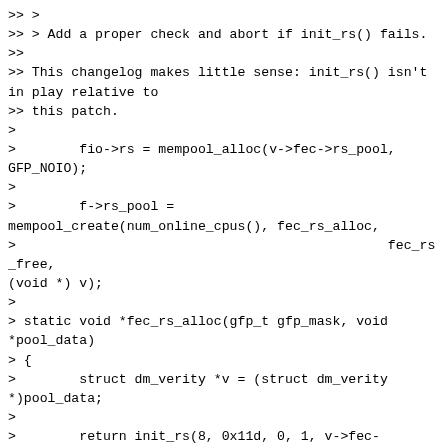>> >
>> > Add a proper check and abort if init_rs() fails.
>>
>> This changelog makes little sense: init_rs() isn't in play relative to
>> this patch.
>
>        fio->rs = mempool_alloc(v->fec->rs_pool, GFP_NOIO);
>
>        f->rs_pool =
mempool_create(num_online_cpus(), fec_rs_alloc,
>                                               fec_rs_free, (void *) v);
>
> static void *fec_rs_alloc(gfp_t gfp_mask, void *pool_data)
> {
>        struct dm_verity *v = (struct dm_verity *)pool_data;
>
>        return init_rs(8, 0x11d, 0, 1, v->fec->roots);
> }
>
> So init_rs() is part of the chain, right?
>
> Yes. I missed the NOIO part. But....
>
>> And it runs counter to this commit's changelog: